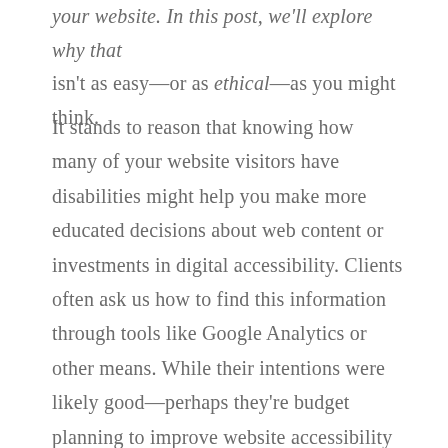your website. In this post, we'll explore why that isn't as easy—or as ethical—as you might think.
It stands to reason that knowing how many of your website visitors have disabilities might help you make more educated decisions about web content or investments in digital accessibility. Clients often ask us how to find this information through tools like Google Analytics or other means. While their intentions were likely good—perhaps they're budget planning to improve website accessibility—this is a slippery, complicated slope. Here's why.